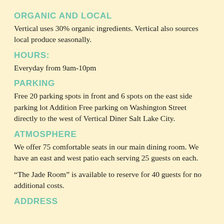ORGANIC AND LOCAL
Vertical uses 30% organic ingredients. Vertical also sources local produce seasonally.
HOURS:
Everyday from 9am-10pm
PARKING
Free 20 parking spots in front and 6 spots on the east side parking lot Addition Free parking on Washington Street directly to the west of Vertical Diner Salt Lake City.
ATMOSPHERE
We offer 75 comfortable seats in our main dining room. We have an east and west patio each serving 25 guests on each.
“The Jade Room” is available to reserve for 40 guests for no additional costs.
ADDRESS